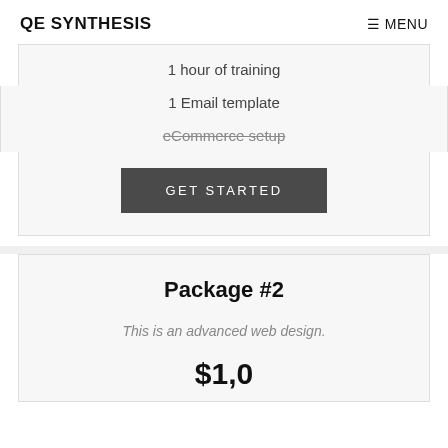QE SYNTHESIS   MENU
1 hour of training
1 Email template
eCommerce setup
GET STARTED
Package #2
This is an advanced web design.
$1,0...